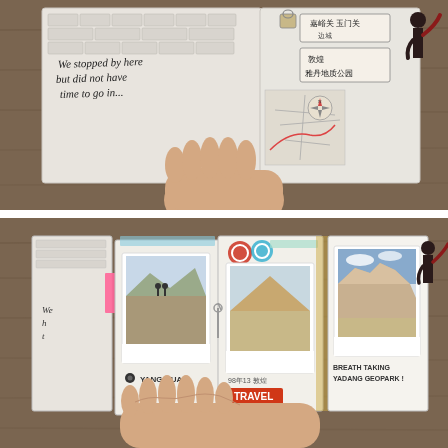[Figure (photo): Top photo: A hand holding open a handmade travel journal/scrapbook. The left page shows brick wall illustration with handwritten text 'We stopped by here but did not have time to go in...' The right page has Chinese text labels/stickers, a compass map illustration, and a dark silhouette figure with raised arm. The journal is placed on a wooden table.]
[Figure (photo): Bottom photo: A hand holding open the same travel journal showing accordion-fold pages with Instax mini photos. Labels visible: 'YANG GUAN', '敦煌 Dunhuang', 'TRAVEL', 'BREATH TAKING YADANG GEOPARK!'. Photos show desert landscapes and people. Colorful stickers and washi tape decorate the pages. Wooden table background.]